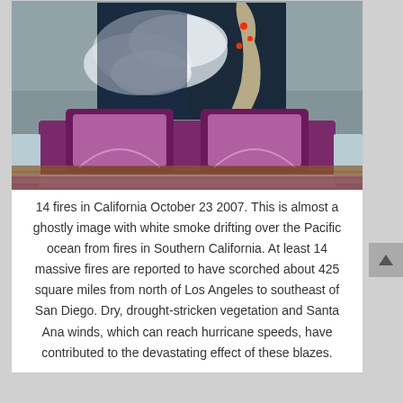[Figure (photo): Composite image: top portion shows a satellite/aerial view of California wildfires with white smoke drifting over the Pacific Ocean, with red fire indicators visible; bottom portion shows a modern bedroom with purple bedding and white platform bed frame, concrete wall background with a framed satellite image displayed on it, and striped area rug.]
14 fires in California October 23 2007. This is almost a ghostly image with white smoke drifting over the Pacific ocean from fires in Southern California. At least 14 massive fires are reported to have scorched about 425 square miles from north of Los Angeles to southeast of San Diego. Dry, drought-stricken vegetation and Santa Ana winds, which can reach hurricane speeds, have contributed to the devastating effect of these blazes.